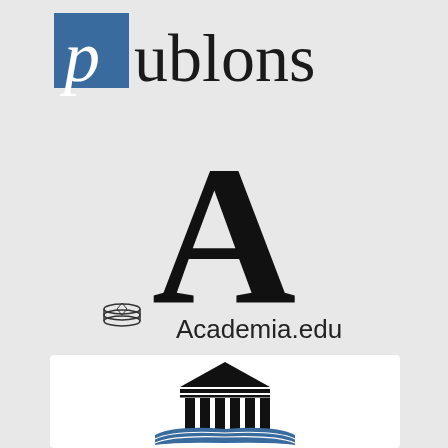[Figure (logo): Publons logo: blue square with 'p' followed by 'ublons' in serif black text]
[Figure (logo): Academia.edu logo: large black serif capital letter A with Academia.edu text and stacked books icon below]
[Figure (logo): Academic institution logo: black Greek temple/columns with blue open book beneath, on white background card]